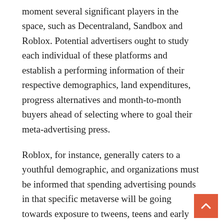moment several significant players in the space, such as Decentraland, Sandbox and Roblox. Potential advertisers ought to study each individual of these platforms and establish a performing information of their respective demographics, land expenditures, progress alternatives and month-to-month buyers ahead of selecting where to goal their meta-advertising press.
Roblox, for instance, generally caters to a youthful demographic, and organizations must be informed that spending advertising pounds in that specific metaverse will be going towards exposure to tweens, teens and early twentysomethings. Decentraland, on the other hand, is positioning by itself as a system for older people intrigued in major, inimitable situations like the Metaverse Style Week it held in late March.